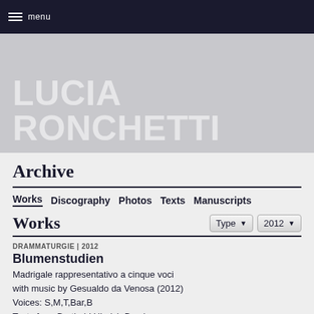≡ menu
LUCIA RONCHETTI
Archive
Works  Discography  Photos  Texts  Manuscripts
Works
DRAMMATURGIE | 2012
Blumenstudien
Madrigale rappresentativo a cinque voci with music by Gesualdo da Venosa (2012)
Voices: S,M,T,Bar,B
Texts from Barthold Hinrich Brockes,